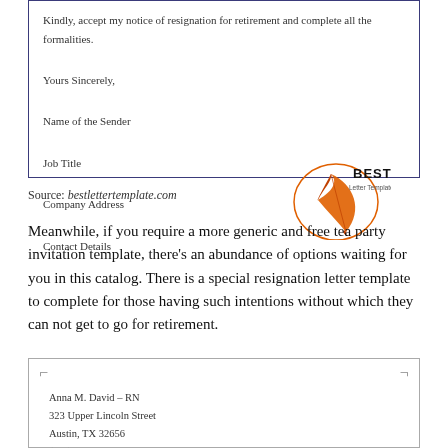[Figure (other): Letter template box with closing remarks: 'Kindly, accept my notice of resignation for retirement and complete all the formalities. Yours Sincerely, Name of the Sender, Job Title, Company Address, Contact Details' and a Best Letter Template logo with orange feather quill]
Source: bestlettertemplate.com
Meanwhile, if you require a more generic and free tea party invitation template, there’s an abundance of options waiting for you in this catalog. There is a special resignation letter template to complete for those having such intentions without which they can not get to go for retirement.
[Figure (other): Bottom portion of a letter template showing sender info: Anna M. David - RN, 323 Upper Lincoln Street, Austin, TX 32656, (000) 999-0987, anna @ email . com, October 17, 2015 (partially visible)]